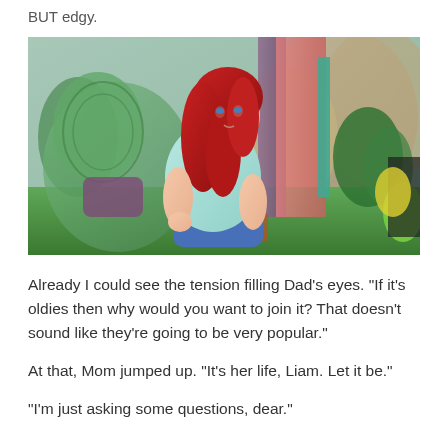BUT edgy.
[Figure (screenshot): Screenshot from The Sims 4 video game showing a female Sim with long red hair wearing a light blue t-shirt, seated in a green wicker chair in an outdoor setting with tropical vegetation and rock formations in the background.]
Already I could see the tension filling Dad’s eyes. “If it’s oldies then why would you want to join it? That doesn’t sound like they’re going to be very popular.”
At that, Mom jumped up. “It’s her life, Liam. Let it be.”
“I’m just asking some questions, dear.”